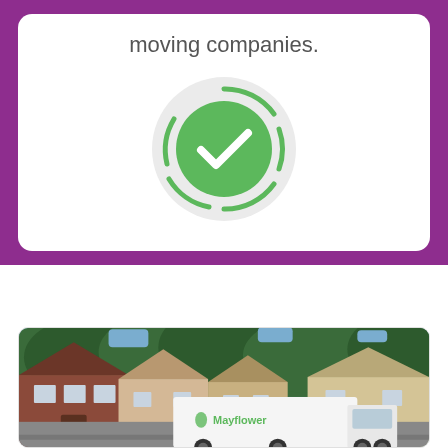moving companies.
[Figure (illustration): Green circular checkmark icon with dashed ring border on light gray background]
[Figure (photo): Mayflower moving truck parked in a suburban neighborhood with houses and trees in the background]